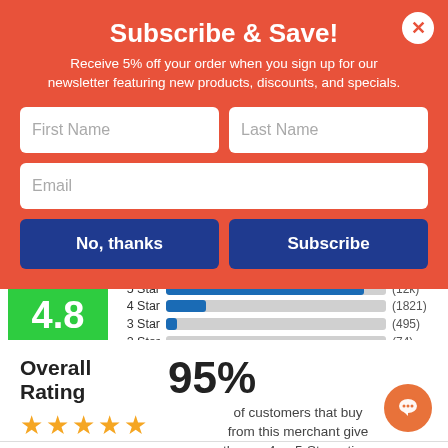Subscribe & Save!
Receive 5% off your order when you sign up for our newsletter featuring new products, discounts, and specials.
[Figure (bar-chart): Star Rating Distribution]
4.8
Out of 5.0
Overall Rating
95%
of customers that buy from this merchant give them a 4 or 5-Star rating.